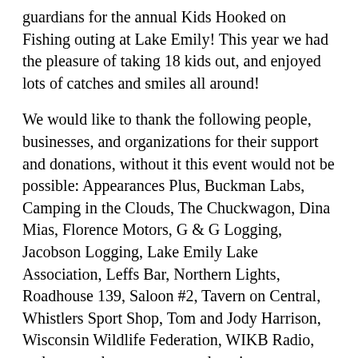guardians for the annual Kids Hooked on Fishing outing at Lake Emily! This year we had the pleasure of taking 18 kids out, and enjoyed lots of catches and smiles all around!
We would like to thank the following people, businesses, and organizations for their support and donations, without it this event would not be possible: Appearances Plus, Buckman Labs, Camping in the Clouds, The Chuckwagon, Dina Mias, Florence Motors, G & G Logging, Jacobson Logging, Lake Emily Lake Association, Leffs Bar, Northern Lights, Roadhouse 139, Saloon #2, Tavern on Central, Whistlers Sport Shop, Tom and Jody Harrison, Wisconsin Wildlife Federation, WIKB Radio, and many other anonymous donations.
A special thanks to our grill masters who served up a wonderful lunch, and the fleet of boat captains